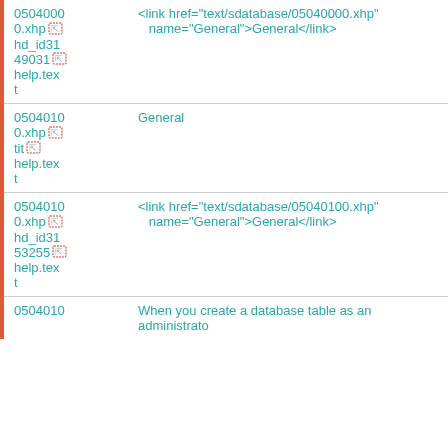|  | col1 | col2 |
| --- | --- | --- |
|  | 0504000
0.xhp
hd_id31
49031
help.tex
t | <link href="text/sdatabase/05040000.xhp"
name="General">General</link> |
|  | 0504010
0.xhp
tit
help.tex
t | General |
|  | 0504010
0.xhp
hd_id31
53255
help.tex
t | <link href="text/sdatabase/05040100.xhp"
name="General">General</link> |
|  | 0504010 | When you create a database table as an administrato |